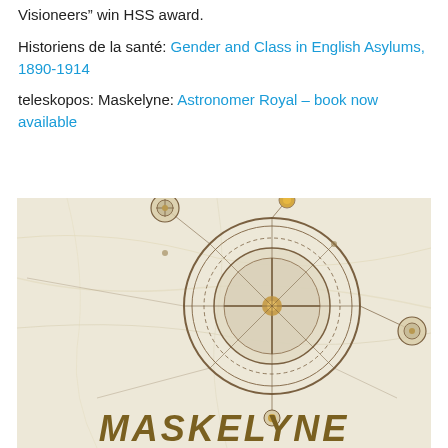Visioneers" win HSS award.
Historiens de la santé: Gender and Class in English Asylums, 1890-1914
teleskopos: Maskelyne: Astronomer Royal – book now available
[Figure (illustration): Book cover illustration for Maskelyne showing a steampunk-style astronomical clockwork mechanism with circular gears and radial lines on a cream/marble background, with the title MASKELYNE in large gold letters at the bottom]